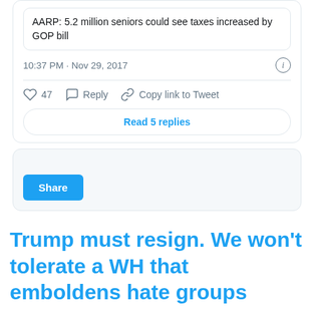[Figure (screenshot): Partial Twitter/X tweet card showing a linked article preview: 'AARP: 5.2 million seniors could see taxes increased by GOP bill', timestamp '10:37 PM · Nov 29, 2017', action icons (heart 47, reply, copy link to tweet), and a 'Read 5 replies' button.]
[Figure (screenshot): Share section with a blue 'Share' button on a light gray background.]
Trump must resign. We won't tolerate a WH that emboldens hate groups
[Figure (screenshot): Bottom of page showing start of a tweet card with user Omar Vaid, verified badge, @omarvaid handle, Follow link, and Twitter bird logo.]